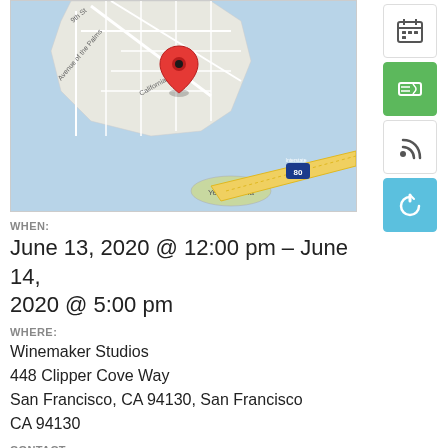[Figure (map): Google Maps screenshot showing Treasure Island / Yerba Buena area of San Francisco Bay, with a red location pin near 448 Clipper Cove Way. Streets visible include Avenue of the Palms, California Ave, 9th St. Interstate 80 visible in lower right.]
WHEN:
June 13, 2020 @ 12:00 pm – June 14, 2020 @ 5:00 pm
WHERE:
Winemaker Studios
448 Clipper Cove Way
San Francisco, CA 94130, San Francisco CA 94130
CONTACT:
Winemaker Studios
Event website